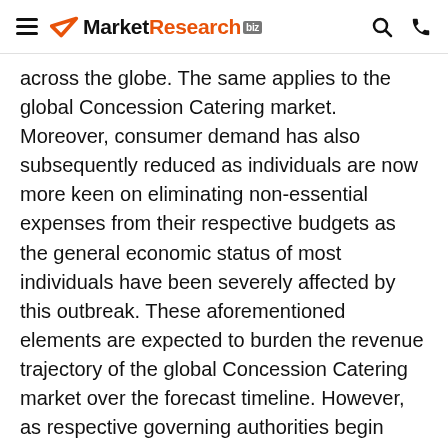MarketResearch.biz
across the globe. The same applies to the global Concession Catering market. Moreover, consumer demand has also subsequently reduced as individuals are now more keen on eliminating non-essential expenses from their respective budgets as the general economic status of most individuals have been severely affected by this outbreak. These aforementioned elements are expected to burden the revenue trajectory of the global Concession Catering market over the forecast timeline. However, as respective governing authorities begin